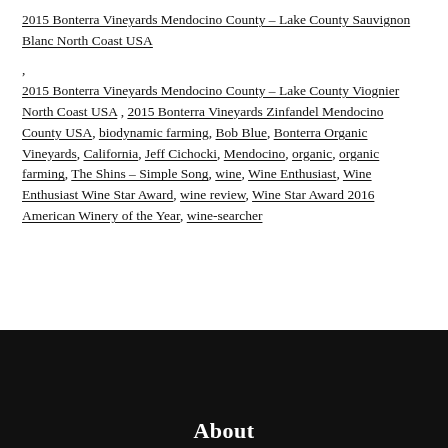2015 Bonterra Vineyards Mendocino County – Lake County Sauvignon Blanc North Coast USA
, 2015 Bonterra Vineyards Mendocino County – Lake County Viognier North Coast USA , 2015 Bonterra Vineyards Zinfandel Mendocino County USA, biodynamic farming, Bob Blue, Bonterra Organic Vineyards, California, Jeff Cichocki, Mendocino, organic, organic farming, The Shins – Simple Song, wine, Wine Enthusiast, Wine Enthusiast Wine Star Award, wine review, Wine Star Award 2016 American Winery of the Year, wine-searcher
About